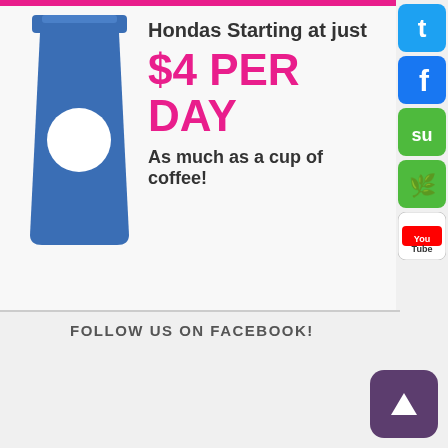[Figure (infographic): Honda car advertisement banner showing a blue coffee cup icon on the left, with text 'Hondas Starting at just $4 PER DAY As much as a cup of coffee!' and a pink top bar. Social media icons (Twitter, Facebook, StumbleUpon, green leaf, YouTube) on the right side.]
FOLLOW US ON FACEBOOK!